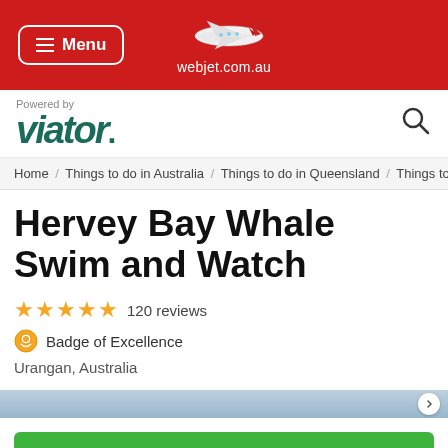Menu | webjet.com.au
[Figure (logo): Viator logo with 'Powered by' text above in dark teal, and a search icon on the right]
Home / Things to do in Australia / Things to do in Queensland / Things to do in...
Hervey Bay Whale Swim and Watch
★★★★★ 120 reviews
Badge of Excellence
Urangan, Australia
Check Availability